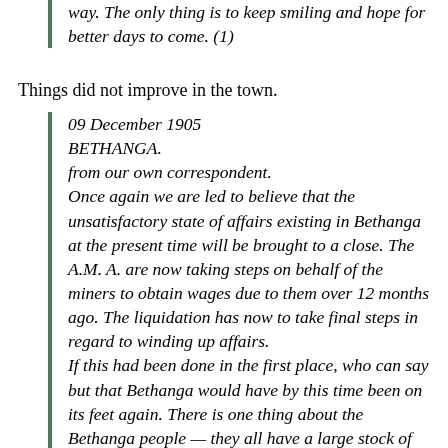way. The only thing is to keep smiling and hope for better days to come. (1)
Things did not improve in the town.
09 December 1905
BETHANGA.
from our own correspondent.
Once again we are led to believe that the unsatisfactory state of affairs existing in Bethanga at the present time will be brought to a close. The A.M. A. are now taking steps on behalf of the miners to obtain wages due to them over 12 months ago. The liquidation has now to take final steps in regard to winding up affairs.
If this had been done in the first place, who can say but that Bethanga would have by this time been on its feet again. There is one thing about the Bethanga people — they all have a large stock of hope, otherwise they — especially the business